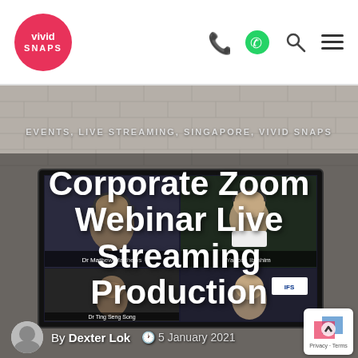Vivid Snaps — logo and navigation icons (phone, WhatsApp, search, menu)
EVENTS, LIVE STREAMING, SINGAPORE, VIVID SNAPS
Corporate Zoom Webinar Live Streaming Production
[Figure (screenshot): Screenshot of a Zoom webinar with multiple participants on screen, showing people with headsets in a corporate webinar setting.]
By Dexter Lok   5 January 2021